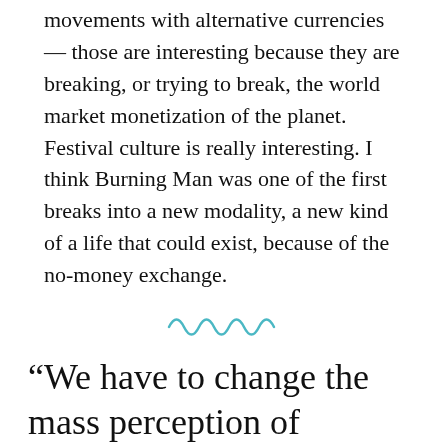movements with alternative currencies — those are interesting because they are breaking, or trying to break, the world market monetization of the planet. Festival culture is really interesting. I think Burning Man was one of the first breaks into a new modality, a new kind of a life that could exist, because of the no-money exchange.
[Figure (illustration): A teal/cyan wavy squiggle decorative divider line]
“We have to change the mass perception of understanding